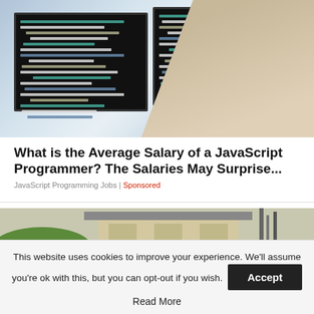[Figure (photo): Woman with glasses smiling at camera while sitting in front of two large computer monitors displaying dark-themed code]
What is the Average Salary of a JavaScript Programmer? The Salaries May Surprise...
JavaScript Programming Jobs | Sponsored
[Figure (photo): Exterior of a house with greenery and roof visible, partially shown]
This website uses cookies to improve your experience. We'll assume you're ok with this, but you can opt-out if you wish. Accept
Read More